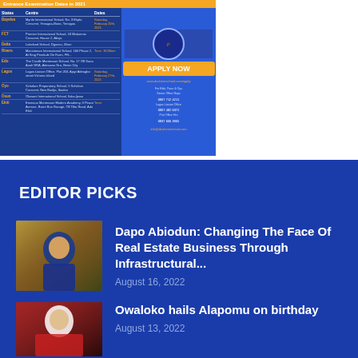[Figure (infographic): Entrance Examination Dates advertisement for a school showing a table of Nigerian states, centres, and dates. Includes APPLY NOW button and website/phone details.]
EDITOR PICKS
[Figure (photo): Photo of Dapo Abiodun seated at a desk in a blue outfit, with yellow flag/banner in background.]
Dapo Abiodun: Changing The Face Of Real Estate Business Through Infrastructural...
August 16, 2022
[Figure (photo): Photo of a traditionally dressed figure in white/red, seated.]
Owaloko hails Alapomu on birthday
August 13, 2022